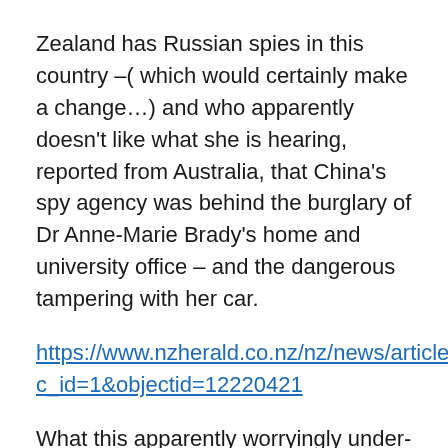Zealand has Russian spies in this country –( which would certainly make a change…) and who apparently doesn't like what she is hearing, reported from Australia, that China's spy agency was behind the burglary of Dr Anne-Marie Brady's home and university office – and the dangerous tampering with her car.
https://www.nzherald.co.nz/nz/news/article.cfm?c_id=1&objectid=12220421
What this apparently worryingly under-informed Prime Minister needs to take on board is that , as the temporary leader of a Labour Party which nearly two thirds of the country rejected in the last election – hence the cobbled-up coalition – she is basically simply the chairman of her party… and that her illogical views on diversity ( i.e. division, divisiveness?) which took shape under the failed